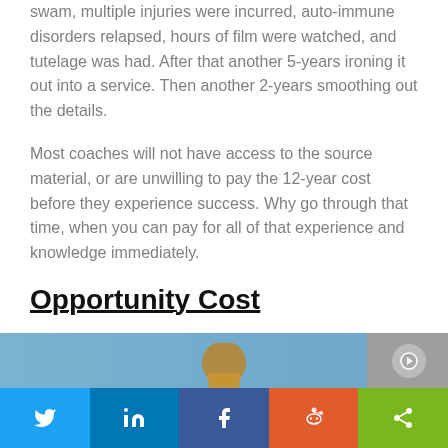swam, multiple injuries were incurred, auto-immune disorders relapsed, hours of film were watched, and tutelage was had. After that another 5-years ironing it out into a service. Then another 2-years smoothing out the details.
Most coaches will not have access to the source material, or are unwilling to pay the 12-year cost before they experience success. Why go through that time, when you can pay for all of that experience and knowledge immediately.
Opportunity Cost
[Figure (photo): Partial image with blue background and social share bar at bottom]
Twitter | LinkedIn | Facebook | Reddit | Share